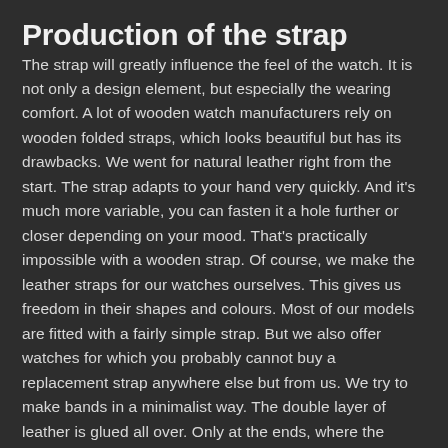Production of the strap
The strap will greatly influence the feel of the watch. It is not only a design element, but especially the wearing comfort. A lot of wooden watch manufacturers rely on wooden folded straps, which looks beautiful but has its drawbacks. We went for natural leather right from the start. The strap adapts to your hand very quickly. And it's much more variable, you can fasten it a hole further or closer depending on your mood. That's practically impossible with a wooden strap. Of course, we make the leather straps for our watches ourselves. This gives us freedom in their shapes and colours. Most of our models are fitted with a fairly simple strap. But we also offer watches for which you probably cannot buy a replacement strap anywhere else but from us. We try to make bands in a minimalist way. The double layer of leather is glued all over. Only at the ends, where the spokes are, the strap is sewn with waxed thread. As a rule, we use 100% natural but dyed leather. Which